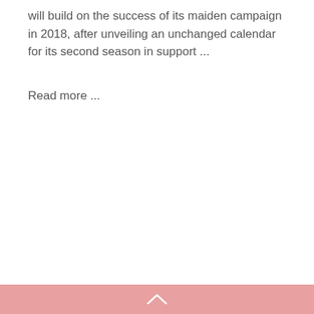will build on the success of its maiden campaign in 2018, after unveiling an unchanged calendar for its second season in support ...
Read more ...
^